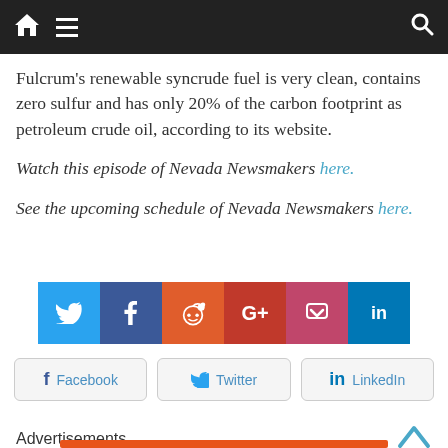Navigation bar with home, menu, and search icons
Fulcrum's renewable syncrude fuel is very clean, contains zero sulfur and has only 20% of the carbon footprint as petroleum crude oil, according to its website.
Watch this episode of Nevada Newsmakers here.
See the upcoming schedule of Nevada Newsmakers here.
[Figure (other): Row of social share icon buttons: Twitter (blue), Facebook (dark blue), Reddit (orange), Google+ (red), Pocket (pink-red), LinkedIn (blue)]
[Figure (other): Social share buttons: Facebook, Twitter, LinkedIn with icons and labels]
Advertisements